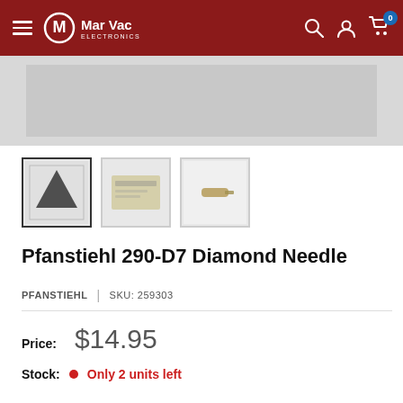Mar Vac Electronics
[Figure (photo): Product image strip showing gray background, main product image area]
[Figure (photo): Three product thumbnail images: first showing product with diamond needle packaging (active/selected), second showing product label/packaging back, third showing the needle component itself]
Pfanstiehl 290-D7 Diamond Needle
PFANSTIEHL | SKU: 259303
Price: $14.95
Stock: Only 2 units left